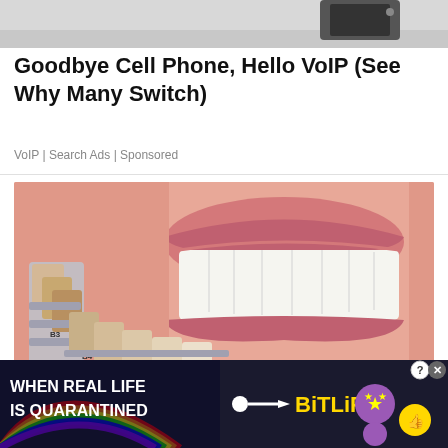[Figure (photo): Top portion of an advertisement showing partial view of a device (cropped at top of page)]
Goodbye Cell Phone, Hello VoIP (See Why Many Switch)
VoIP | Search Ads | Sponsored
[Figure (photo): Close-up photo of a smiling person's teeth with a dental shade guide (tooth color samples labeled S1, B3, B4, C1, C2, C3) held in front for comparison]
[Figure (infographic): Banner advertisement: 'WHEN REAL LIFE IS QUARANTINED' with rainbow background, BitLife game logo in yellow, and cartoon emoji characters including star-eyed face and thumbs up. Has close X and question mark buttons.]